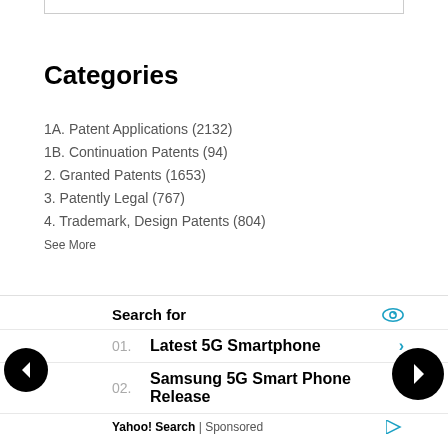Categories
1A. Patent Applications (2132)
1B. Continuation Patents (94)
2. Granted Patents (1653)
3. Patently Legal (767)
4. Trademark, Design Patents (804)
See More
Search for
01. Latest 5G Smartphone
02. Samsung 5G Smart Phone Release
Yahoo! Search | Sponsored